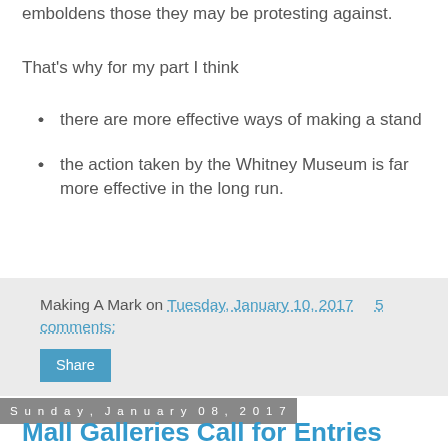emboldens those they may be protesting against.
That's why for my part I think
there are more effective ways of making a stand
the action taken by the Whitney Museum is far more effective in the long run.
Making A Mark on Tuesday, January 10, 2017   5 comments:
Share
Sunday, January 08, 2017
Mall Galleries Call for Entries Checklist 2017 - Federation of British Artists' Exhibitions
The dates for deadlines for submissions, receiving days and exhibition dates for all the 2017 open exhibitions at the Mall Galleries by national art societies - that are Federation of British Artists (FBA) - are be listed below.